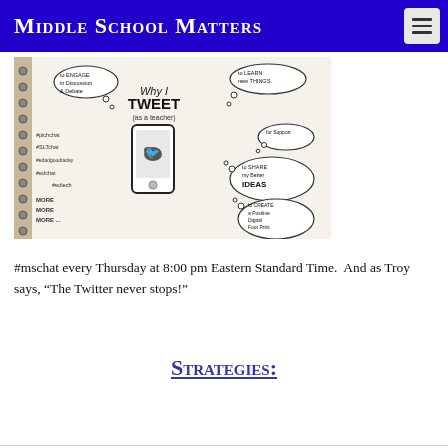Middle School Matters
[Figure (illustration): Hand-drawn sketchnote in a spiral notebook showing a smartphone with a Twitter bird icon, surrounded by thought bubbles saying: 'to engage in discussion & debate', 'to learn new things', '#plchcnat', '#SLTchat', '#edadgoodtaday', '#edchat', '#edtech', 'more more more...', 'for support', 'to share my better ideas', 'to create a positive digital footprint', with the title 'Why I Tweet (as a teacher)']
#mschat every Thursday at 8:00 pm Eastern Standard Time.  And as Troy says, “The Twitter never stops!”
Strategies: